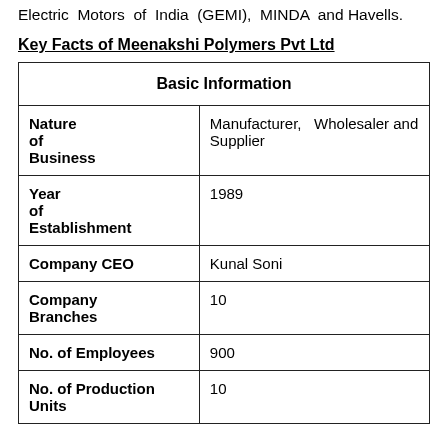Electric Motors of India (GEMI), MINDA and Havells.
Key Facts of Meenakshi Polymers Pvt Ltd
| Basic Information |  |
| --- | --- |
| Nature of Business | Manufacturer, Wholesaler and Supplier |
| Year of Establishment | 1989 |
| Company CEO | Kunal Soni |
| Company Branches | 10 |
| No. of Employees | 900 |
| No. of Production Units | 10 |